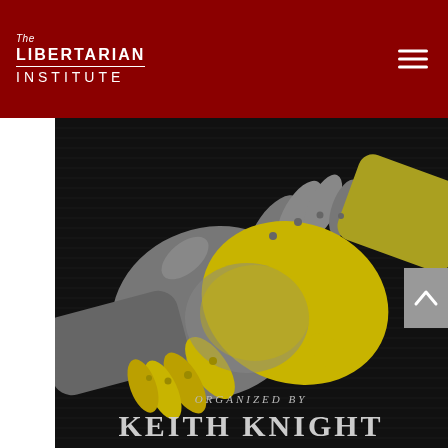The Libertarian Institute
[Figure (illustration): Stylized illustration of a handshake between a grey-gloved hand and a yellow-gloved hand on a dark striped background, with text 'ORGANIZED BY KEITH KNIGHT' at the bottom.]